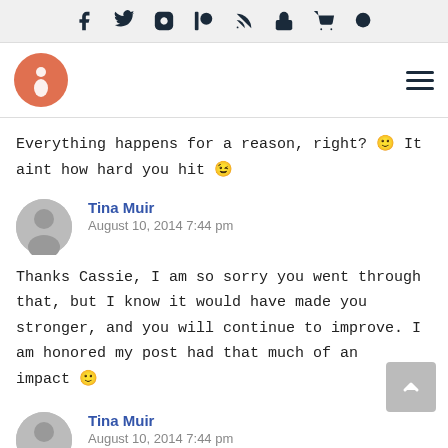Social icon navigation bar and site logo with hamburger menu
Everything happens for a reason, right? 🙂 It aint how hard you hit 😉
Tina Muir
August 10, 2014 7:44 pm
Thanks Cassie, I am so sorry you went through that, but I know it would have made you stronger, and you will continue to improve. I am honored my post had that much of an impact 🙂
Tina Muir
August 10, 2014 7:44 pm